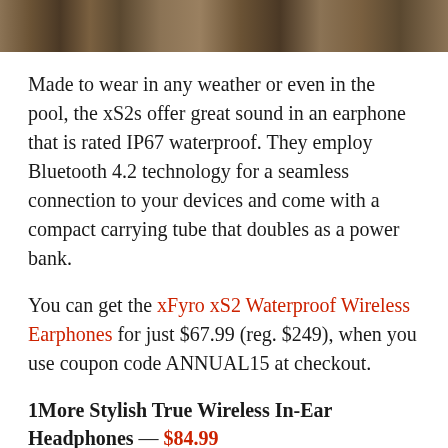[Figure (photo): Partial photo of a person outdoors, cropped at top of page]
Made to wear in any weather or even in the pool, the xS2s offer great sound in an earphone that is rated IP67 waterproof. They employ Bluetooth 4.2 technology for a seamless connection to your devices and come with a compact carrying tube that doubles as a power bank.
You can get the xFyro xS2 Waterproof Wireless Earphones for just $67.99 (reg. $249), when you use coupon code ANNUAL15 at checkout.
1More Stylish True Wireless In-Ear Headphones — $84.99